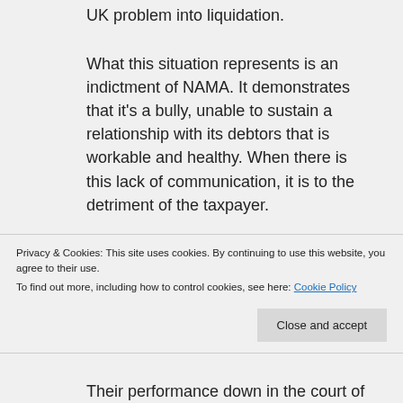UK problem into liquidation.
What this situation represents is an indictment of NAMA. It demonstrates that it's a bully, unable to sustain a relationship with its debtors that is workable and healthy. When there is this lack of communication, it is to the detriment of the taxpayer.
Spinning propaganda to the great unwashed readers of the tabloids, in order
Privacy & Cookies: This site uses cookies. By continuing to use this website, you agree to their use.
To find out more, including how to control cookies, see here: Cookie Policy
Their performance down in the court of